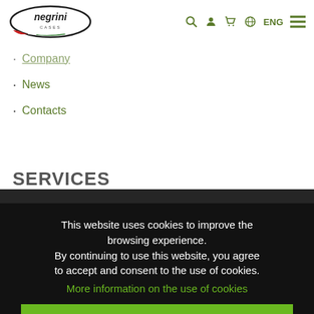[Figure (logo): Negrini Cases logo — oval border with red/green stripe, brand name in italic bold]
Company
News
Contacts
SERVICES
This website uses cookies to improve the browsing experience.
By continuing to use this website, you agree to accept and consent to the use of cookies.
More information on the use of cookies
ACCEPT AND CONTINUE